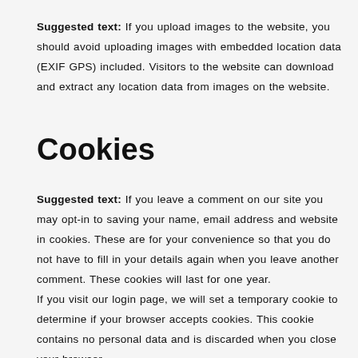Suggested text: If you upload images to the website, you should avoid uploading images with embedded location data (EXIF GPS) included. Visitors to the website can download and extract any location data from images on the website.
Cookies
Suggested text: If you leave a comment on our site you may opt-in to saving your name, email address and website in cookies. These are for your convenience so that you do not have to fill in your details again when you leave another comment. These cookies will last for one year. If you visit our login page, we will set a temporary cookie to determine if your browser accepts cookies. This cookie contains no personal data and is discarded when you close your browser.